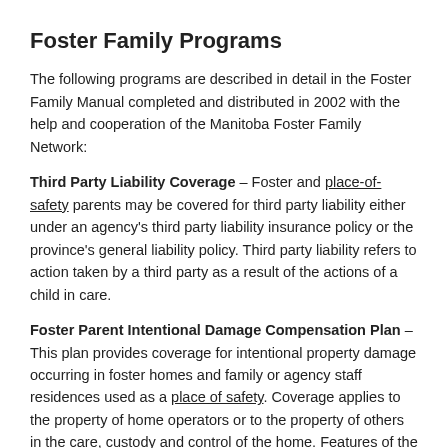Foster Family Programs
The following programs are described in detail in the Foster Family Manual completed and distributed in 2002 with the help and cooperation of the Manitoba Foster Family Network:
Third Party Liability Coverage – Foster and place-of-safety parents may be covered for third party liability either under an agency's third party liability insurance policy or the province's general liability policy. Third party liability refers to action taken by a third party as a result of the actions of a child in care.
Foster Parent Intentional Damage Compensation Plan – This plan provides coverage for intentional property damage occurring in foster homes and family or agency staff residences used as a place of safety. Coverage applies to the property of home operators or to the property of others in the care, custody and control of the home. Features of the plan include the following: